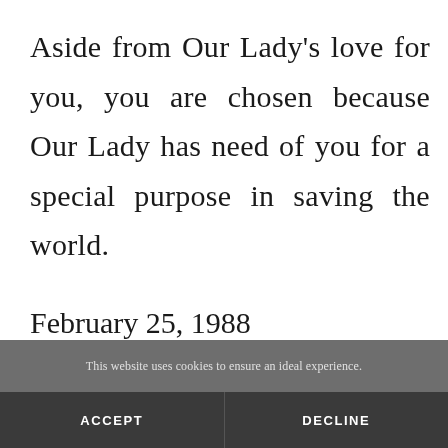Aside from Our Lady's love for you, you are chosen because Our Lady has need of you for a special purpose in saving the world.
February 25, 1988
This website uses cookies to ensure an ideal experience.
ACCEPT
DECLINE